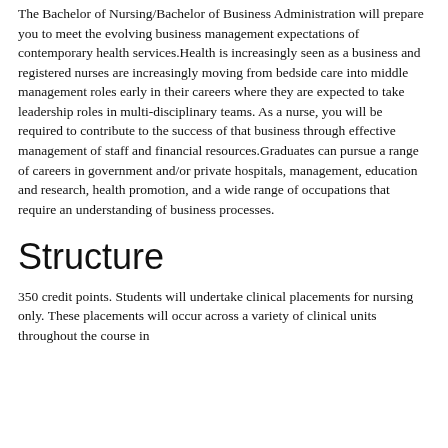The Bachelor of Nursing/Bachelor of Business Administration will prepare you to meet the evolving business management expectations of contemporary health services.Health is increasingly seen as a business and registered nurses are increasingly moving from bedside care into middle management roles early in their careers where they are expected to take leadership roles in multi-disciplinary teams. As a nurse, you will be required to contribute to the success of that business through effective management of staff and financial resources.Graduates can pursue a range of careers in government and/or private hospitals, management, education and research, health promotion, and a wide range of occupations that require an understanding of business processes.
Structure
350 credit points. Students will undertake clinical placements for nursing only. These placements will occur across a variety of clinical units throughout the course in